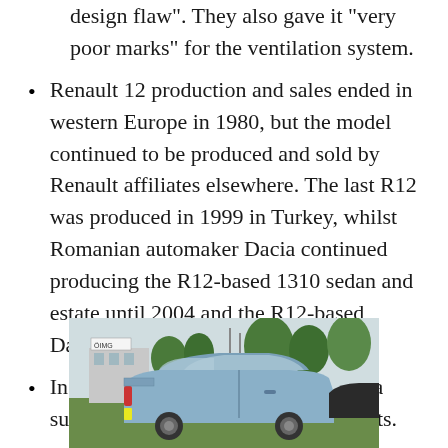design flaw". They also gave it "very poor marks" for the ventilation system.
Renault 12 production and sales ended in western Europe in 1980, but the model continued to be produced and sold by Renault affiliates elsewhere. The last R12 was produced in 1999 in Turkey, whilst Romanian automaker Dacia continued producing the R12-based 1310 sedan and estate until 2004 and the R12-based Dacia Pick-Up until December 2006.
In terms of sales the Renault 12 was a successful car, selling 2.5 million units.
[Figure (photo): A blue Renault 12 car photographed from behind/side angle in a parking area with trees and a building in the background]